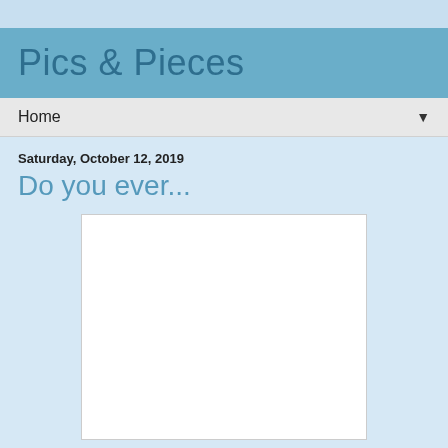Pics & Pieces
Home
Saturday, October 12, 2019
Do you ever...
[Figure (photo): White blank/placeholder image rectangle centered on the page]
Lorelei went to spend some time with her favorite aunt. Delta loves her, but right now she is wanting her attention,